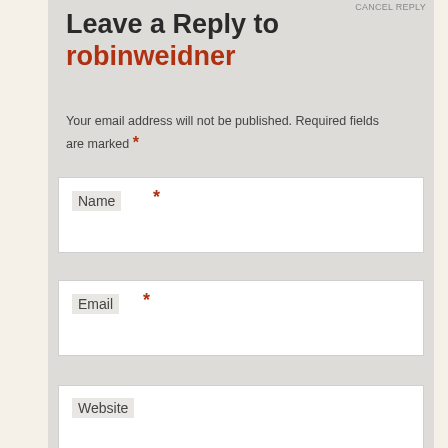CANCEL REPLY
Leave a Reply to robinweidner
Your email address will not be published. Required fields are marked *
Name *
Email *
Website